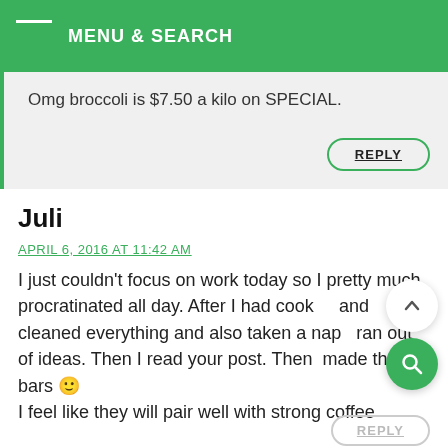MENU & SEARCH
Omg broccoli is $7.50 a kilo on SPECIAL.
REPLY
Juli
APRIL 6, 2016 AT 11:42 AM
I just couldn't focus on work today so I pretty much procratinated all day. After I had cook and cleaned everything and also taken a nap ran out of ideas. Then I read your post. Then made these bars 🙂
I feel like they will pair well with strong coffee
REPLY